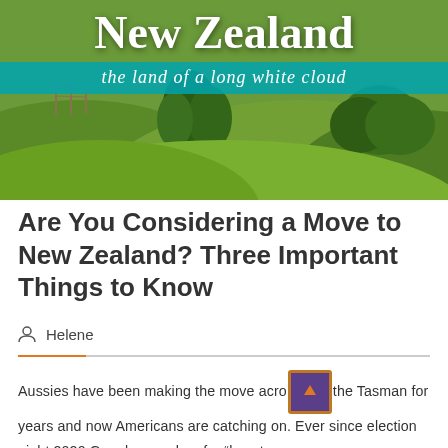[Figure (photo): Banner image of green rolling hills in New Zealand with text overlay reading 'New Zealand' in large white serif font and subtitle 'the land of a long white cloud' on a teal bar.]
Are You Considering a Move to New Zealand? Three Important Things to Know
Helene
Aussies have been making the move across the Tasman for years and now Americans are catching on. Ever since election night 2020 Google searches for "how to move to New Zealand" have been trending...